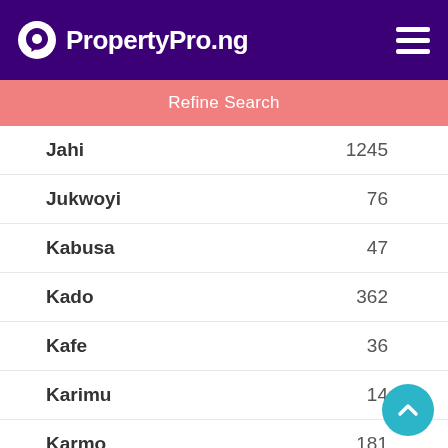PropertyPro.ng
Refine Search
Jahi    1245
Jukwoyi    76
Kabusa    47
Kado    362
Kafe    36
Karimu    14
Karmo    181
Karsana    417
Karu    24
Katampe Ext    981
Katampe Main    478